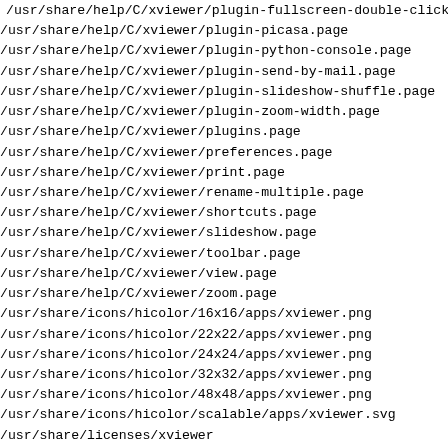/usr/share/help/C/xviewer/plugin-fullscreen-double-click
/usr/share/help/C/xviewer/plugin-picasa.page
/usr/share/help/C/xviewer/plugin-python-console.page
/usr/share/help/C/xviewer/plugin-send-by-mail.page
/usr/share/help/C/xviewer/plugin-slideshow-shuffle.page
/usr/share/help/C/xviewer/plugin-zoom-width.page
/usr/share/help/C/xviewer/plugins.page
/usr/share/help/C/xviewer/preferences.page
/usr/share/help/C/xviewer/print.page
/usr/share/help/C/xviewer/rename-multiple.page
/usr/share/help/C/xviewer/shortcuts.page
/usr/share/help/C/xviewer/slideshow.page
/usr/share/help/C/xviewer/toolbar.page
/usr/share/help/C/xviewer/view.page
/usr/share/help/C/xviewer/zoom.page
/usr/share/icons/hicolor/16x16/apps/xviewer.png
/usr/share/icons/hicolor/22x22/apps/xviewer.png
/usr/share/icons/hicolor/24x24/apps/xviewer.png
/usr/share/icons/hicolor/32x32/apps/xviewer.png
/usr/share/icons/hicolor/48x48/apps/xviewer.png
/usr/share/icons/hicolor/scalable/apps/xviewer.svg
/usr/share/licenses/xviewer
/usr/share/licenses/xviewer/COPYING
/usr/share/xviewer
/usr/share/xviewer/icons
/usr/share/xviewer/icons/hicolor
/usr/share/xviewer/icons/hicolor/16x16
/usr/share/xviewer/icons/hicolor/16x16/actions
/usr/share/xviewer/icons/hicolor/16x16/actions/slideshow-
/usr/share/xviewer/icons/hicolor/16x16/actions/xviewer-ir